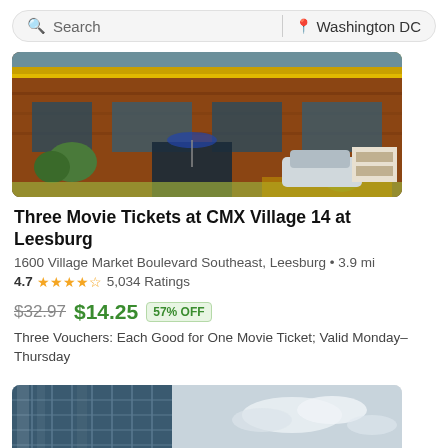[Figure (screenshot): Search bar with 'Search' text on left and 'Washington DC' location on right]
[Figure (photo): Exterior photo of CMX Village 14 at Leesburg cinema, a brick building with yellow accents and trees]
Three Movie Tickets at CMX Village 14 at Leesburg
1600 Village Market Boulevard Southeast, Leesburg • 3.9 mi
4.7 ★★★★½ 5,034 Ratings
$32.97 $14.25 57% OFF
Three Vouchers: Each Good for One Movie Ticket; Valid Monday–Thursday
[Figure (photo): Exterior photo of a modern glass office/hotel building with city skyline in background]